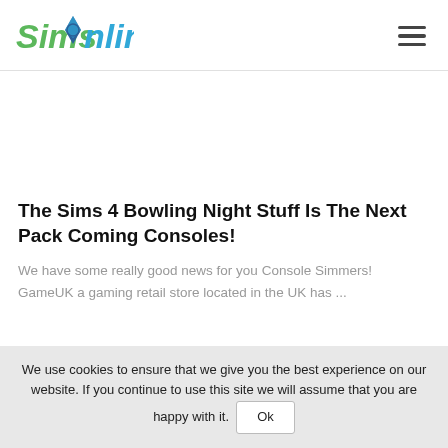SimsOnline
The Sims 4 Bowling Night Stuff Is The Next Pack Coming Consoles!
We have some really good news for you Console Simmers! GameUK a gaming retail store located in the UK has ...
We use cookies to ensure that we give you the best experience on our website. If you continue to use this site we will assume that you are happy with it. Ok